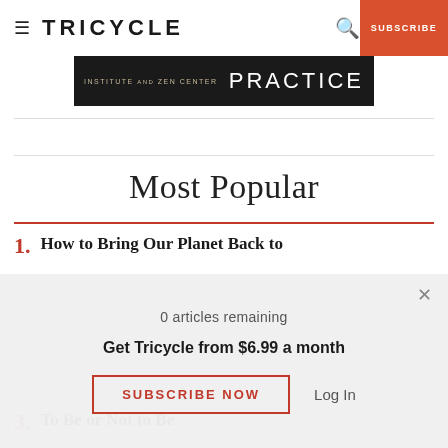≡ TRICYCLE   🔍  SUBSCRIBE
[Figure (screenshot): Banner image for Institute and Zen Center PRACTICE]
Most Popular
1. How to Bring Our Planet Back to
0 articles remaining
Get Tricycle from $6.99 a month
SUBSCRIBE NOW   Log In
3. To Be or Not to Be